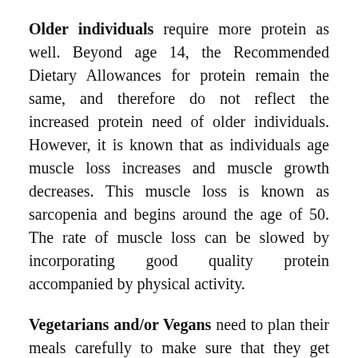Older individuals require more protein as well. Beyond age 14, the Recommended Dietary Allowances for protein remain the same, and therefore do not reflect the increased protein need of older individuals. However, it is known that as individuals age muscle loss increases and muscle growth decreases. This muscle loss is known as sarcopenia and begins around the age of 50. The rate of muscle loss can be slowed by incorporating good quality protein accompanied by physical activity.
Vegetarians and/or Vegans need to plan their meals carefully to make sure that they get enough protein. Without the concentrated proteins found in animal products, those following a vegetarian or vegan diet need to be more mindful...